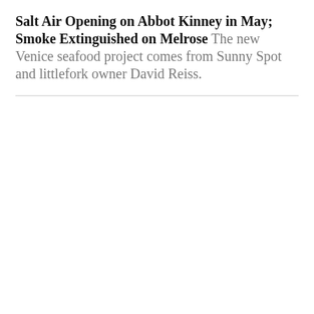Salt Air Opening on Abbot Kinney in May; Smoke Extinguished on Melrose The new Venice seafood project comes from Sunny Spot and littlefork owner David Reiss.